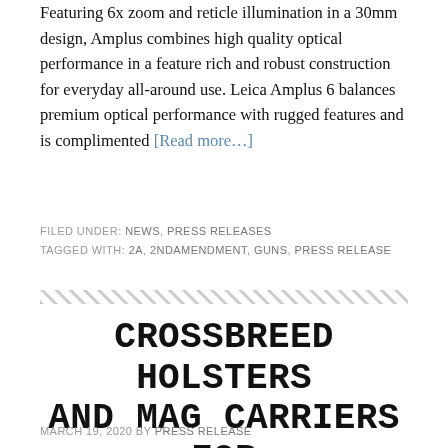Featuring 6x zoom and reticle illumination in a 30mm design, Amplus combines high quality optical performance in a feature rich and robust construction for everyday all-around use. Leica Amplus 6 balances premium optical performance with rugged features and is complimented [Read more…]
FILED UNDER: NEWS, PRESS RELEASES
TAGGED WITH: 2A, 2NDAMENDMENT, GUNS, PRESS RELEASE
CROSSBREED HOLSTERS AND MAG CARRIERS FOR THE FN 503
MARCH 19, 2020 BY PRESS RELEASE